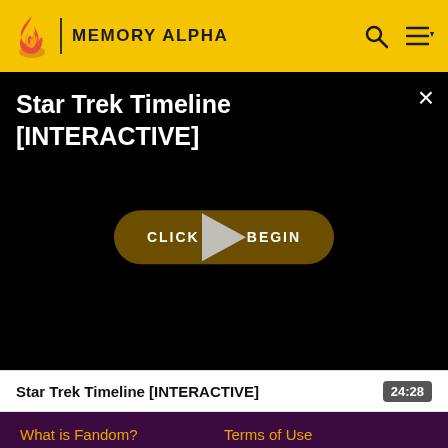MEMORY ALPHA
[Figure (screenshot): Video player with black background showing title 'Star Trek Timeline [INTERACTIVE]' and a 'CLICK TO BEGIN' button with a play triangle overlay]
Star Trek Timeline [INTERACTIVE]  24:28
What is Fandom?
Terms of Use
About
Privacy Policy
Careers
Global Sitemap